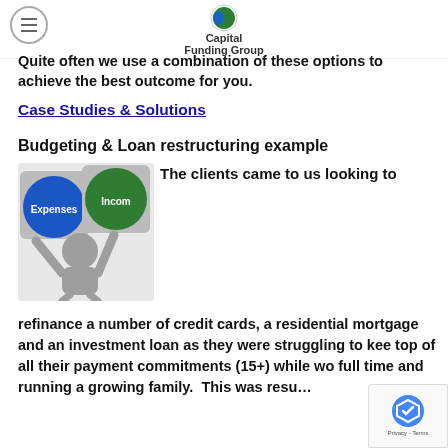Capital Funding Group
Quite often we use a combination of these options to achieve the best outcome for you.
Case Studies & Solutions
Budgeting & Loan restructuring example
[Figure (illustration): A 3D figure holding up two large buttons labeled 'Expenses' (blue) and 'Income' (green)]
The clients came to us looking to refinance a number of credit cards, a residential mortgage and an investment loan as they were struggling to keep top of all their payment commitments (15+) while working full time and running a growing family. This was resulting in